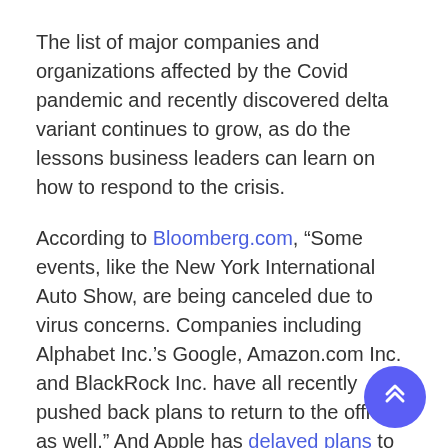The list of major companies and organizations affected by the Covid pandemic and recently discovered delta variant continues to grow, as do the lessons business leaders can learn on how to respond to the crisis.
According to Bloomberg.com, "Some events, like the New York International Auto Show, are being canceled due to virus concerns. Companies including Alphabet Inc.'s Google, Amazon.com Inc. and BlackRock Inc. have all recently pushed back plans to return to the office as well." And Apple has delayed plans to open its first brick-and-mortar store in India this year because of Covid's impact on that country.
‘Multiple Headwinds’